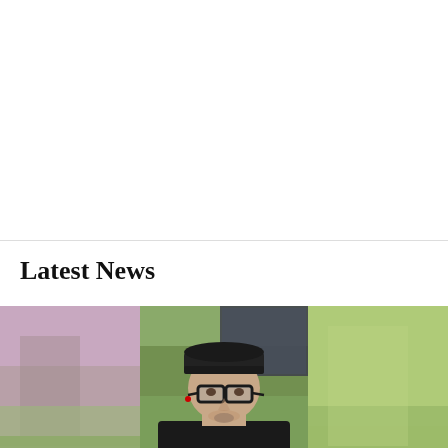Latest News
[Figure (photo): A man wearing a black baseball cap and black t-shirt with glasses, photographed from inside a car with green grass and a vehicle visible in the background. The image shows three panels: blurred left panel, clear center panel with the man, and blurred right panel.]